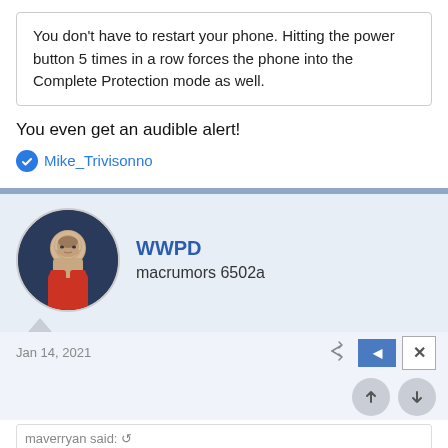You don't have to restart your phone. Hitting the power button 5 times in a row forces the phone into the Complete Protection mode as well.
You even get an audible alert!
Mike_Trivisonno
WWPD
macrumors 6502a
Jan 14, 2021
maverryan said: ↺